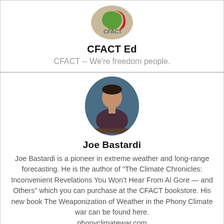[Figure (logo): CFACT logo — green and red stylized design with CFACT text below]
CFACT Ed
CFACT -- We're freedom people.
[Figure (photo): Circular portrait photo of Joe Bastardi, a man in dark clothing seated at a desk]
Joe Bastardi
Joe Bastardi is a pioneer in extreme weather and long-range forecasting. He is the author of “The Climate Chronicles: Inconvenient Revelations You Won’t Hear From Al Gore — and Others” which you can purchase at the CFACT bookstore. His new book The Weaponization of Weather in the Phony Climate war can be found here. phonyclimatewar.com